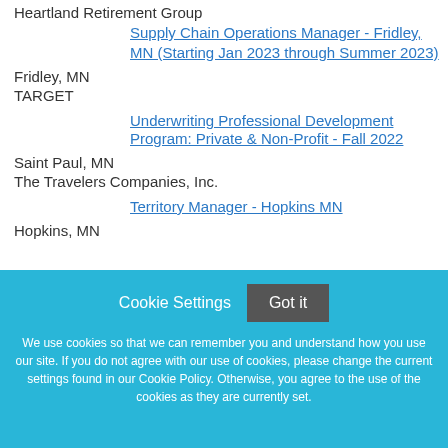Heartland Retirement Group
Supply Chain Operations Manager - Fridley, MN (Starting Jan 2023 through Summer 2023)
Fridley, MN
TARGET
Underwriting Professional Development Program: Private & Non-Profit - Fall 2022
Saint Paul, MN
The Travelers Companies, Inc.
Territory Manager - Hopkins MN
Hopkins, MN
Cookie Settings  Got it

We use cookies so that we can remember you and understand how you use our site. If you do not agree with our use of cookies, please change the current settings found in our Cookie Policy. Otherwise, you agree to the use of the cookies as they are currently set.